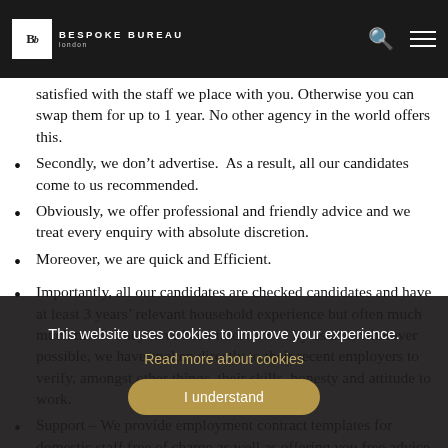Bespoke Bureau London
satisfied with the staff we place with you. Otherwise you can swap them for up to 1 year. No other agency in the world offers this.
Secondly, we don’t advertise. As a result, all our candidates come to us recommended.
Obviously, we offer professional and friendly advice and we treat every enquiry with absolute discretion.
Moreover, we are quick and Efficient.
Importantly, all our candidates are checked candidates and have at least 3 years’ relevant household experience but often much much more. They have been interviewed by us and, wherever possible, we have spoken directly to their recent employers to verify, amongst other things, their skills, honesty and attitude to work.
Support – We provide employment contract templates for domestic staff free of charge as well as offering you free advice.